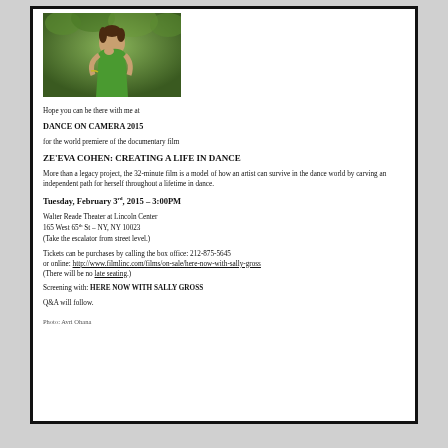[Figure (photo): Woman in green dress leaning on hands outdoors, photo by Avri Ohana]
Hope you can be there with me at
DANCE ON CAMERA 2015
for the world premiere of the documentary film
ZE'EVA COHEN: CREATING A LIFE IN DANCE
More than a legacy project, the 32-minute film is a model of how an artist can survive in the dance world by carving an independent path for herself throughout a lifetime in dance.
Tuesday, February 3rd, 2015 – 3:00PM
Walter Reade Theater at Lincoln Center
165 West 65th St – NY, NY 10023
(Take the escalator from street level.)
Tickets can be purchases by calling the box office: 212-875-5645
or online: http://www.filmlinc.com/films/on-sale/here-now-with-sally-gross
(There will be no late seating.)
Screening with: HERE NOW WITH SALLY GROSS
Q&A will follow.
Photo: Avri Ohana